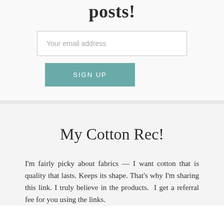posts!
[Figure (other): Email signup form with text input field labeled 'Your email address' and a teal 'SIGN UP' button]
My Cotton Rec!
I'm fairly picky about fabrics — I want cotton that is quality that lasts. Keeps its shape. That's why I'm sharing this link. I truly believe in the products.  I get a referral fee for you using the links.